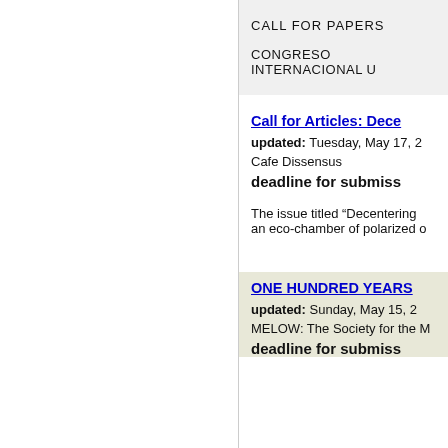CALL FOR PAPERS
CONGRESO INTERNACIONAL U
Call for Articles: Dece
updated: Tuesday, May 17, 2
Cafe Dissensus
deadline for submiss
The issue titled “Decentering
an eco-chamber of polarized o
ONE HUNDRED YEARS
updated: Sunday, May 15, 2
MELOW: The Society for the M
deadline for submiss